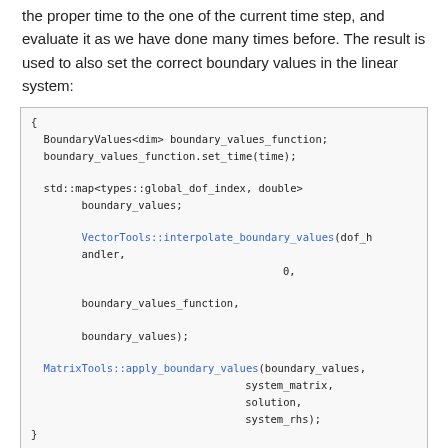the proper time to the one of the current time step, and evaluate it as we have done many times before. The result is used to also set the correct boundary values in the linear system:
{
  BoundaryValues<dim> boundary_values_function;
  boundary_values_function.set_time(time);

  std::map<types::global_dof_index, double>
        boundary_values;

        VectorTools::interpolate_boundary_values(dof_handler,
                                                0,

        boundary_values_function,

        boundary_values);

  MatrixTools::apply_boundary_values(boundary_values,
                                    system_matrix,
                                    solution,
                                    system_rhs);
}
With this out of the way, all we have to do is solve the system, generate graphical data, and...
solve_time_step();

output_results();